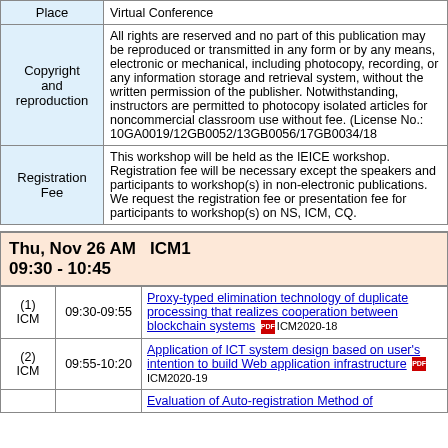| Field | Content |
| --- | --- |
| Place | Virtual Conference |
| Copyright and reproduction | All rights are reserved and no part of this publication may be reproduced or transmitted in any form or by any means, electronic or mechanical, including photocopy, recording, or any information storage and retrieval system, without the written permission of the publisher. Notwithstanding, instructors are permitted to photocopy isolated articles for noncommercial classroom use without fee. (License No.: 10GA0019/12GB0052/13GB0056/17GB0034/18GB0052) |
| Registration Fee | This workshop will be held as the IEICE workshop. Registration fee will be necessary except the speakers and participants to workshop(s) in non-electronic publications. We request the registration fee or presentation fee for participants to workshop(s) on NS, ICM, CQ. |
Thu, Nov 26 AM  ICM1
09:30 - 10:45
| No. | Time | Title |
| --- | --- | --- |
| (1) ICM | 09:30-09:55 | Proxy-typed elimination technology of duplicate processing that realizes cooperation between blockchain systems ICM2020-18 |
| (2) ICM | 09:55-10:20 | Application of ICT system design based on user's intention to build Web application infrastructure ICM2020-19 |
| (3) ICM |  | Evaluation of Auto-registration Method of ... |